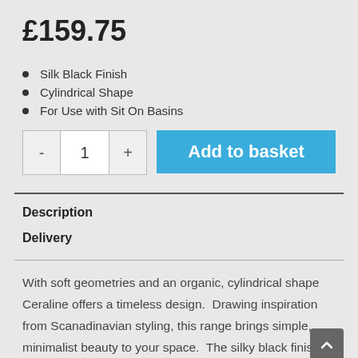£159.75
Silk Black Finish
Cylindrical Shape
For Use with Sit On Basins
Description
Delivery
With soft geometries and an organic, cylindrical shape Ceraline offers a timeless design.  Drawing inspiration from Scanadinavian styling, this range brings simple, minimalist beauty to your space.  The silky black finish